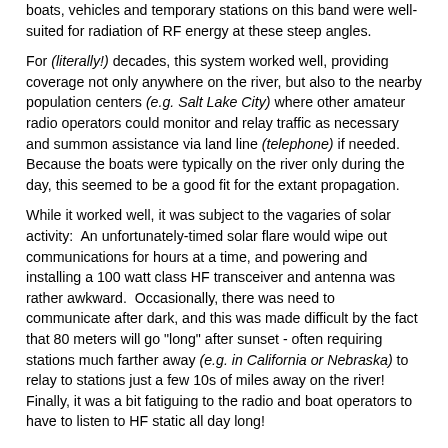boats, vehicles and temporary stations on this band were well-suited for radiation of RF energy at these steep angles.
For (literally!) decades, this system worked well, providing coverage not only anywhere on the river, but also to the nearby population centers (e.g. Salt Lake City) where other amateur radio operators could monitor and relay traffic as necessary and summon assistance via land line (telephone) if needed.  Because the boats were typically on the river only during the day, this seemed to be a good fit for the extant propagation.
While it worked well, it was subject to the vagaries of solar activity:  An unfortunately-timed solar flare would wipe out communications for hours at a time, and powering and installing a 100 watt class HF transceiver and antenna was rather awkward.  Occasionally, there was need to communicate after dark, and this was made difficult by the fact that 80 meters will go "long" after sunset - often requiring stations much farther away (e.g. in California or Nebraska) to relay to stations just a few 10s of miles away on the river!  Finally, it was a bit fatiguing to the radio and boat operators to have to listen to HF static all day long!